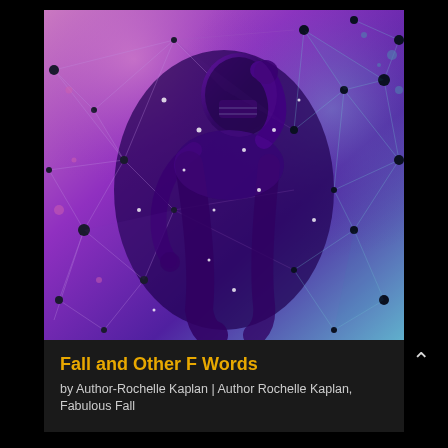[Figure (illustration): Abstract digital art of a football player in motion, rendered in purple, pink, and cyan tones with geometric network/polygon overlay lines and dots. The figure is fragmenting into particles and geometric shapes against a dark background transitioning from pink/purple on the left to cyan/blue on the right.]
Fall and Other F Words
by Author-Rochelle Kaplan | Author Rochelle Kaplan, Fabulous Fall